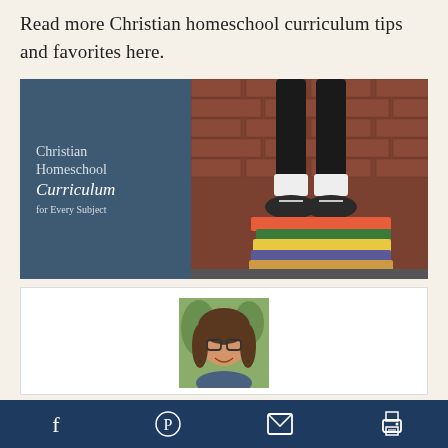Read more Christian homeschool curriculum tips and favorites here.
[Figure (infographic): Christian Homeschool Curriculum for Every Subject — left panel dark blue with text, right panel photo of child's legs standing on stack of books against brick wall]
[Figure (photo): Author headshot — woman with glasses and long hair, smiling]
Social share bar with Facebook, Pinterest, email, and print icons